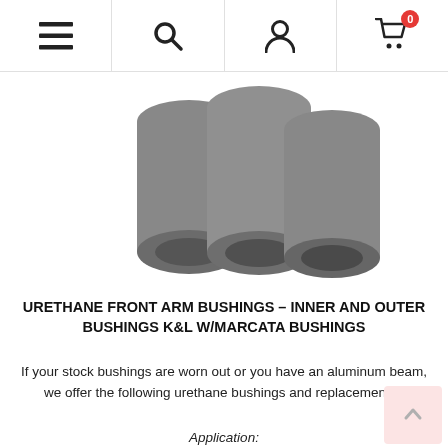Navigation bar with menu, search, account, and cart (0 items) icons
[Figure (photo): Gray urethane cylindrical bushings — three bushing tubes shown from above on a white background]
URETHANE FRONT ARM BUSHINGS – INNER AND OUTER BUSHINGS K&L W/MARCATA BUSHINGS
If your stock bushings are worn out or you have an aluminum beam, we offer the following urethane bushings and replacements..
Application:
Bug (Type 1): -65

Ghia: -65

Race/Off-Road: -65
$53.95